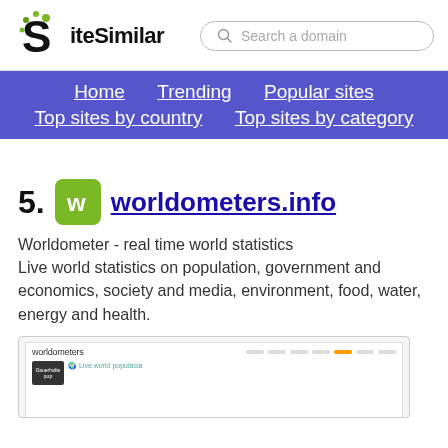SiteSimilar — Search a domain
Home  Trending  Popular sites  Top sites by country  Top sites by category
5. worldometers.info
Worldometer - real time world statistics Live world statistics on population, government and economics, society and media, environment, food, water, energy and health.
[Figure (screenshot): Screenshot thumbnail of worldometers.info website showing the worldometers logo and a world population live counter.]